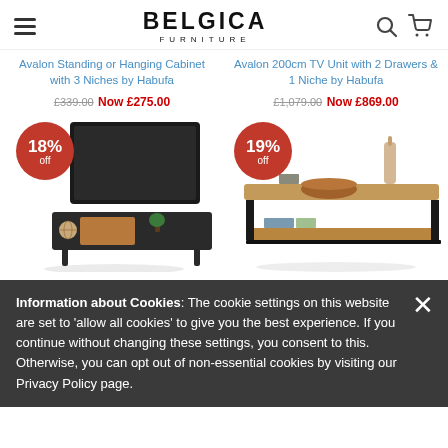BELGICA FURNITURE
Avalon Standing or Hanging Cabinet with 3 Niches by Habufa £339.00 Now £275.00
Avalon 200cm TV Unit with 2 Drawers & 1 Niche by Habufa £1,079.00 Now £869.00
[Figure (photo): TV unit furniture with 18% off badge - dark wood and metal stand]
[Figure (photo): Coffee table furniture with 19% off badge - wood and metal frame]
Information about Cookies: The cookie settings on this website are set to 'allow all cookies' to give you the best experience. If you continue without changing these settings, you consent to this. Otherwise, you can opt out of non-essential cookies by visiting our Privacy Policy page.